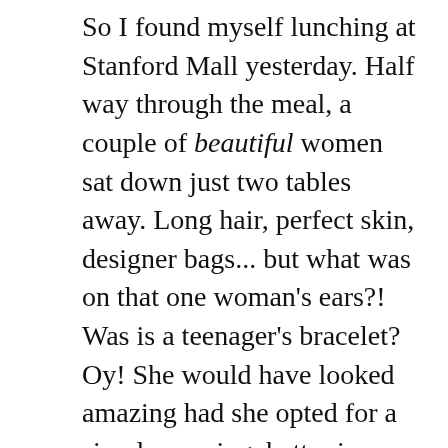So I found myself lunching at Stanford Mall yesterday. Half way through the meal, a couple of beautiful women sat down just two tables away. Long hair, perfect skin, designer bags... but what was on that one woman's ears?! Was is a teenager's bracelet? Oy! She would have looked amazing had she opted for a simpler earring, better in scale with both her own personal features and the necklace she was wearing. I know that color is THE thing for spring, but really, these earrings just need to go!